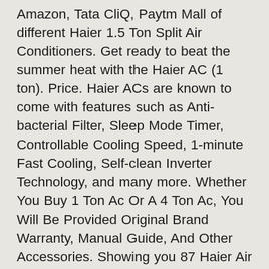Amazon, Tata CliQ, Paytm Mall of different Haier 1.5 Ton Split Air Conditioners. Get ready to beat the summer heat with the Haier AC (1 ton). Price. Haier ACs are known to come with features such as Anti-bacterial Filter, Sleep Mode Timer, Controllable Cooling Speed, 1-minute Fast Cooling, Self-clean Inverter Technology, and many more. Whether You Buy 1 Ton Ac Or A 4 Ton Ac, You Will Be Provided Original Brand Warranty, Manual Guide, And Other Accessories. Showing you 87 Haier Air Conditioner Price in Pakistan. This page gives you list of all Haier AC in India with latest price. Buy Haier HSU-19CXBW5N 1.5 Ton 5 Star Split AC online at best price in India. Verify Summary. Auto Restart. Online store iShopping offers the best price for this Haier AC when compared among 1 sellers. Haier provides you the top-rated air conditioners to make your summers easy we have a very cool range Of Air Conditioner with advanced features and full BTUs.No more worries bring